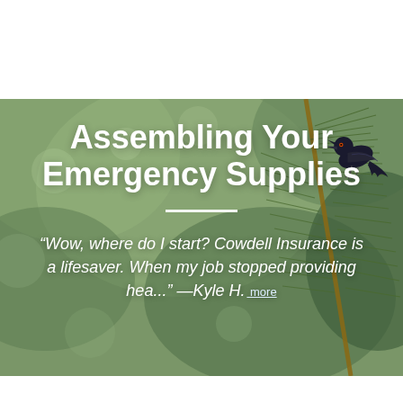[Figure (logo): Cowdell Insurance Agency & Financial Services logo — white text on blue background]
[Figure (screenshot): Hamburger menu icon button in top right corner]
[Figure (photo): Hero background photo of a black bird (grackle) perched on pine tree branch with blurred green foliage]
Assembling Your Emergency Supplies
“Wow, where do I start? Cowdell Insurance is a lifesaver. When my job stopped providing hea...” —Kyle H. more